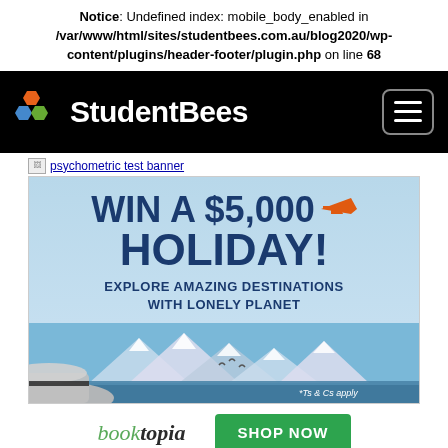Notice: Undefined index: mobile_body_enabled in /var/www/html/sites/studentbees.com.au/blog2020/wp-content/plugins/header-footer/plugin.php on line 68
[Figure (logo): StudentBees website header logo with hexagonal icon (orange, blue, green) and white text on black background, with hamburger menu button]
[Figure (illustration): Broken image placeholder icon with alt text 'psychometric test banner']
[Figure (infographic): Holiday prize advertisement banner: WIN A $5,000 HOLIDAY! EXPLORE AMAZING DESTINATIONS WITH LONELY PLANET. Features scenic coastal background with mountains and hat, Ts & Cs apply.]
[Figure (logo): Booktopia logo in italic serif font (green 'book', dark 'topia') alongside green SHOP NOW button]